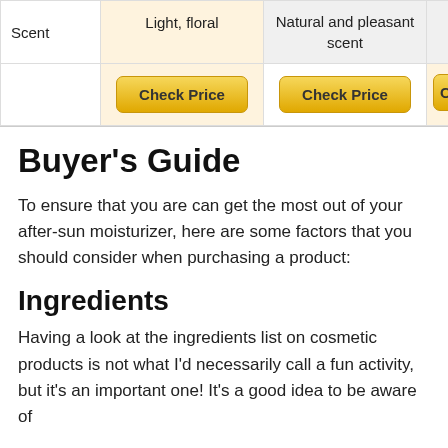|  | Column 1 | Column 2 | Column 3 (partial) |
| --- | --- | --- | --- |
| Scent | Light, floral | Natural and pleasant scent |  |
|  | Check Price | Check Price | C |
Buyer's Guide
To ensure that you are can get the most out of your after-sun moisturizer, here are some factors that you should consider when purchasing a product:
Ingredients
Having a look at the ingredients list on cosmetic products is not what I'd necessarily call a fun activity, but it's an important one! It's a good idea to be aware of